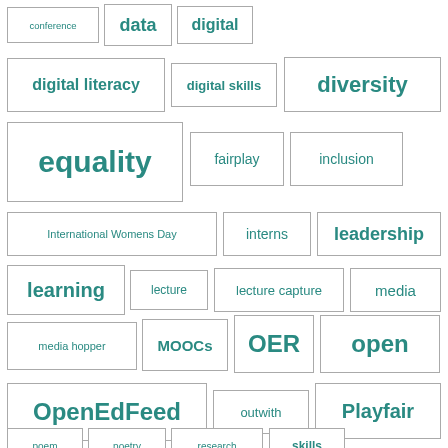[Figure (infographic): Tag cloud with educational keywords in teal/dark cyan color, varying font sizes, each tag in a bordered rectangle. Tags include: conference, data, digital, digital literacy, digital skills, diversity, equality, fairplay, inclusion, International Womens Day, interns, leadership, learning, lecture, lecture capture, media, media hopper, MOOCs, OER, open, OpenEdFeed, outwith, Playfair, poem, poetry, research, skills]